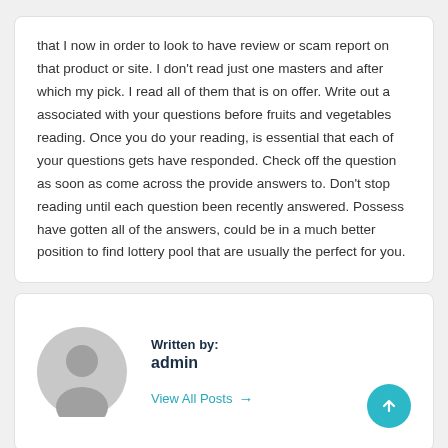that I now in order to look to have review or scam report on that product or site. I don't read just one masters and after which my pick. I read all of them that is on offer. Write out a associated with your questions before fruits and vegetables reading. Once you do your reading, is essential that each of your questions gets have responded. Check off the question as soon as come across the provide answers to. Don't stop reading until each question been recently answered. Possess have gotten all of the answers, could be in a much better position to find lottery pool that are usually the perfect for you.
Written by: admin
View All Posts →